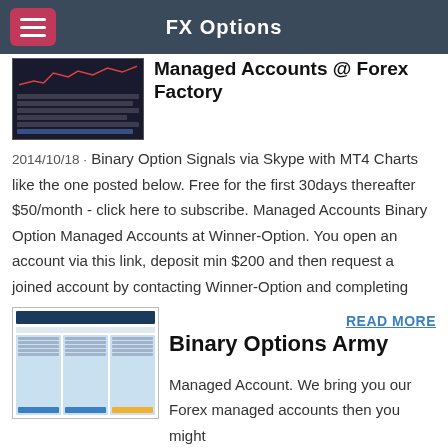FX Options
Managed Accounts @ Forex Factory
2014/10/18 · Binary Option Signals via Skype with MT4 Charts like the one posted below. Free for the first 30days thereafter $50/month - click here to subscribe. Managed Accounts Binary Option Managed Accounts at Winner-Option. You open an account via this link, deposit min $200 and then request a joined account by contacting Winner-Option and completing
READ MORE
Binary Options Army
Managed Account. We bring you our Forex managed accounts then you might want to take a closer look at Binary Options & Forex Trading as a way out of the rat race. We are professional Forex and Binary Options traders. If you look for an opportunity to make money fast,